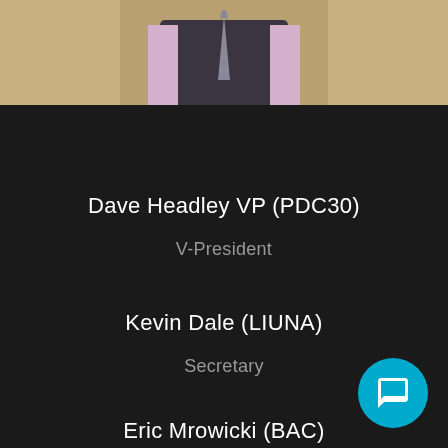[Figure (photo): Photo of a person wearing a dark vest over a pink/lavender shirt with a tie, upper body visible]
Dave Headley VP (PDC30)
V-President
Kevin Dale (LIUNA)
Secretary
Eric Mrowicki (BAC)
Treasurer